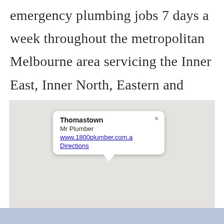emergency plumbing jobs 7 days a week throughout the metropolitan Melbourne area servicing the Inner East, Inner North, Eastern and South Eastern suburbs.
[Figure (map): Google Maps embed showing Thomastown location with a popup info window displaying: bold title 'Thomastown', 'Mr Plumber', link 'www.1800plumber.com.a', and link 'Directions'. The map background is a plain grey tile. A close (×) button appears in the top-right of the popup.]